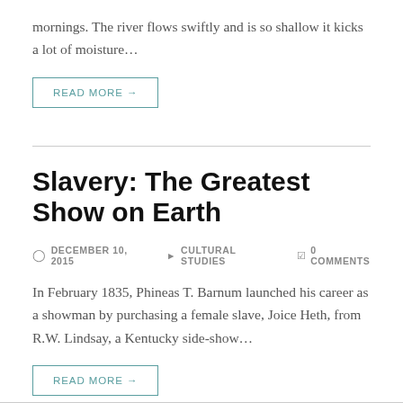mornings. The river flows swiftly and is so shallow it kicks a lot of moisture…
READ MORE →
Slavery: The Greatest Show on Earth
DECEMBER 10, 2015   CULTURAL STUDIES   0 COMMENTS
In February 1835, Phineas T. Barnum launched his career as a showman by purchasing a female slave, Joice Heth, from R.W. Lindsay, a Kentucky side-show…
READ MORE →